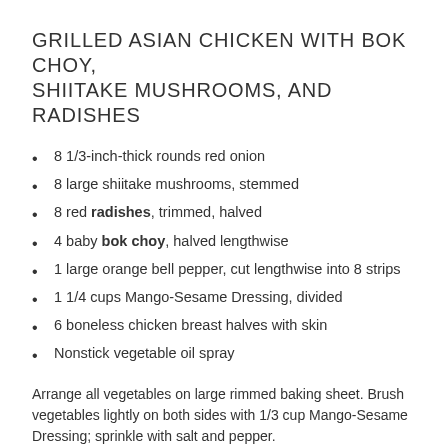GRILLED ASIAN CHICKEN WITH BOK CHOY, SHIITAKE MUSHROOMS, AND RADISHES
8 1/3-inch-thick rounds red onion
8 large shiitake mushrooms, stemmed
8 red radishes, trimmed, halved
4 baby bok choy, halved lengthwise
1 large orange bell pepper, cut lengthwise into 8 strips
1 1/4 cups Mango-Sesame Dressing, divided
6 boneless chicken breast halves with skin
Nonstick vegetable oil spray
Arrange all vegetables on large rimmed baking sheet. Brush vegetables lightly on both sides with 1/3 cup Mango-Sesame Dressing; sprinkle with salt and pepper.
Arrange chicken on foil. Brush the sides of...